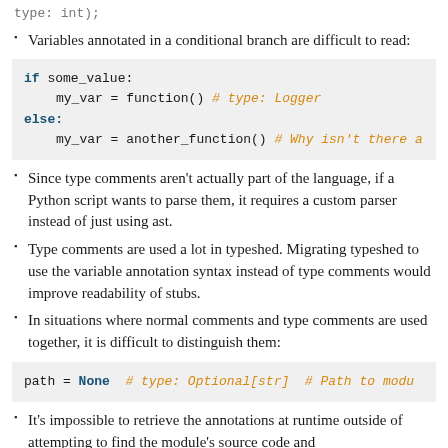Variables annotated in a conditional branch are difficult to read:
[Figure (screenshot): Code block showing: if some_value: / my_var = function() # type: Logger / else: / my_var = another_function() # Why isn't there a]
Since type comments aren’t actually part of the language, if a Python script wants to parse them, it requires a custom parser instead of just using ast.
Type comments are used a lot in typeshed. Migrating typeshed to use the variable annotation syntax instead of type comments would improve readability of stubs.
In situations where normal comments and type comments are used together, it is difficult to distinguish them:
[Figure (screenshot): Code block showing: path = None  # type: Optional[str]  # Path to modu]
It’s impossible to retrieve the annotations at runtime outside of attempting to find the module’s source code and